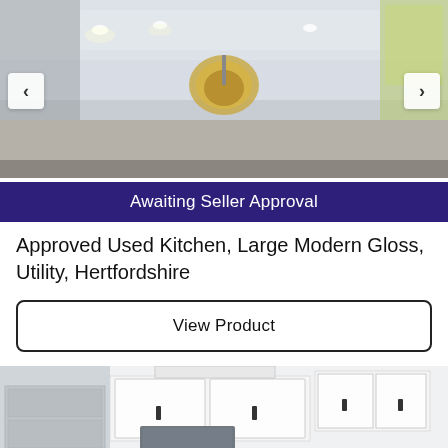[Figure (photo): Interior kitchen photo showing ceiling with pendant light and recessed lighting, modern kitchen setting]
Awaiting Seller Approval
Approved Used Kitchen, Large Modern Gloss, Utility, Hertfordshire
View Product
[Figure (photo): White in-frame shaker kitchen with stainless steel fridge and Rangemaster oven, black countertop, pink flowers]
With Rangemaster Oven
Approved Used Kitchen, In Frame Shaker,